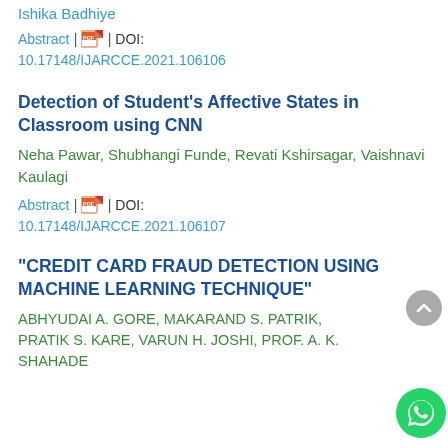Ishika Badhiye
Abstract | PDF | DOI: 10.17148/IJARCCE.2021.106106
Detection of Student's Affective States in Classroom using CNN
Neha Pawar, Shubhangi Funde, Revati Kshirsagar, Vaishnavi Kaulagi
Abstract | PDF | DOI: 10.17148/IJARCCE.2021.106107
“CREDIT CARD FRAUD DETECTION USING MACHINE LEARNING TECHNIQUE”
ABHYUDAI A. GORE, MAKARAND S. PATRIK, PRATIK S. KARE, VARUN H. JOSHI, PROF. A. K. SHAHADE